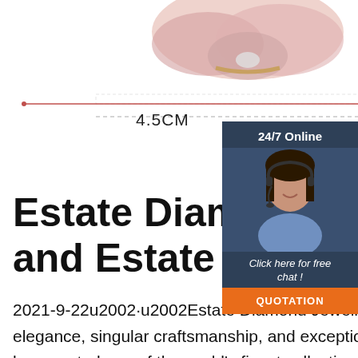[Figure (photo): Product photo of a floral rose gold diamond ring with measurement line showing 4.5CM width, partially visible measurement annotation 'Wei']
4.5CM
Wei
[Figure (photo): Live chat widget showing '24/7 Online', a female customer service agent wearing a headset, 'Click here for free chat!' text, and QUOTATION button]
Estate Diamond Jewelry Antique and Estate Jewelry NYC
2021-9-22u2002·u2002Estate Diamond Jewelry. With a reputation for timeless elegance, singular craftsmanship, and exceptional rarity, Estate Diamond Jewelry has curated one of the world's finest collections of vintage rings and antique